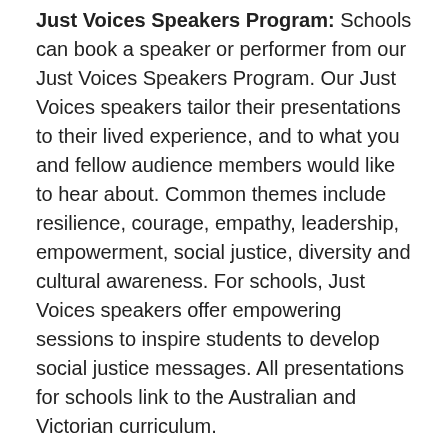Just Voices Speakers Program: Schools can book a speaker or performer from our Just Voices Speakers Program. Our Just Voices speakers tailor their presentations to their lived experience, and to what you and fellow audience members would like to hear about. Common themes include resilience, courage, empathy, leadership, empowerment, social justice, diversity and cultural awareness. For schools, Just Voices speakers offer empowering sessions to inspire students to develop social justice messages. All presentations for schools link to the Australian and Victorian curriculum.
Presentations by Jesuit Social Services staff: Jesuit Social Services has a long history of leadership in the social sector. Our staff are able to present to your